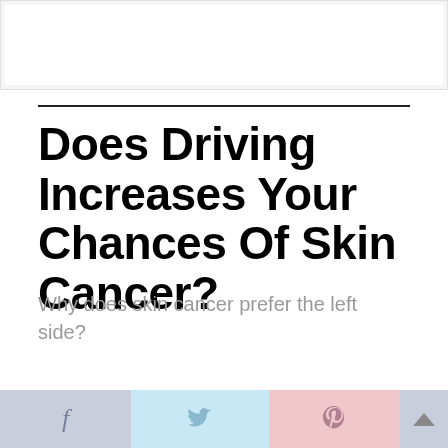[Figure (other): White rectangular image placeholder area at the top of the page]
Does Driving Increases Your Chances Of Skin Cancer?
Why does skin cancer prefer the left side?
[Figure (other): Social sharing bar at the bottom with Facebook (f), Twitter (bird), Pinterest (P) icons and an up arrow, on colored backgrounds: muted blue-gray, light blue, and light pink]